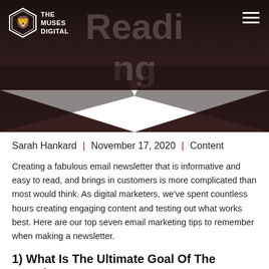[Figure (photo): Dark hero banner with large text 'Reading' partially visible, with a chevron/diamond shaped white cutout at the bottom. The Muses Digital logo is in the top-left corner.]
THE MUSES DIGITAL
Sarah Hankard  |  November 17, 2020  |  Content
Creating a fabulous email newsletter that is informative and easy to read, and brings in customers is more complicated than most would think. As digital marketers, we've spent countless hours creating engaging content and testing out what works best. Here are our top seven email marketing tips to remember when making a newsletter.
1) What Is The Ultimate Goal Of The Newsletter?